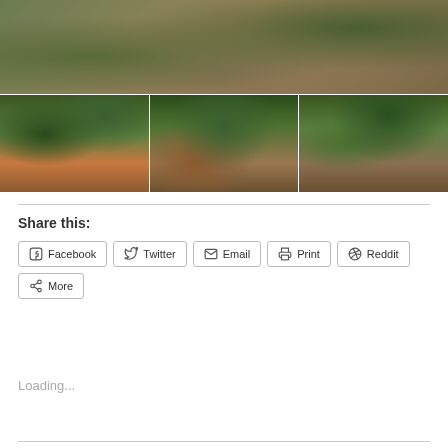[Figure (photo): Top photo: aerial/trail view of a forest path with rocks and dappled sunlight through green tree canopy]
[Figure (photo): Bottom-left photo: group of hikers in blue shirts with backpacks standing at a trail sign in the woods]
[Figure (photo): Bottom-center photo: person in blue shirt drinking from a water bottle while sitting on rocks in the forest]
[Figure (photo): Bottom-right photo: group of hikers resting on rocks in the forest near a trail sign]
Share this:
Facebook
Twitter
Email
Print
Reddit
More
Loading...